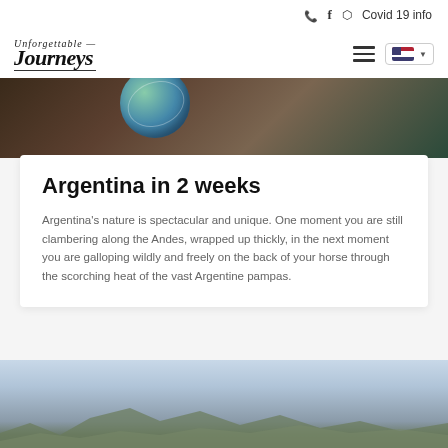📞 f 🔷 Covid 19 info
[Figure (logo): Unforgettable Journeys logo with script text and hamburger menu with US flag language selector]
[Figure (photo): Dark interior photo showing a globe and wooden furniture]
Argentina in 2 weeks
Argentina's nature is spectacular and unique. One moment you are still clambering along the Andes, wrapped up thickly, in the next moment you are galloping wildly and freely on the back of your horse through the scorching heat of the vast Argentine pampas.
[Figure (photo): Landscape photo of rocky terrain with cloudy sky, partial view at bottom of page]